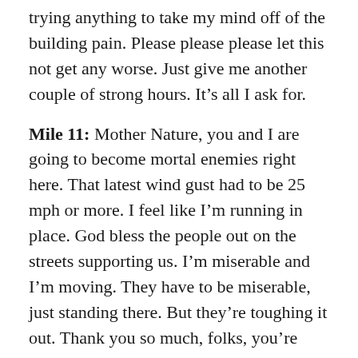trying anything to take my mind off of the building pain. Please please please let this not get any worse. Just give me another couple of strong hours. It's all I ask for.
Mile 11: Mother Nature, you and I are going to become mortal enemies right here. That latest wind gust had to be 25 mph or more. I feel like I'm running in place. God bless the people out on the streets supporting us. I'm miserable and I'm moving. They have to be miserable, just standing there. But they're toughing it out. Thank you so much, folks, you're helping to keep me going right now.
Miles 12–13.1: Pain in my hip seems to be